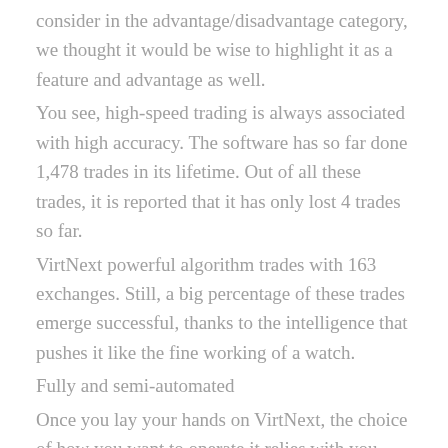consider in the advantage/disadvantage category, we thought it would be wise to highlight it as a feature and advantage as well.
You see, high-speed trading is always associated with high accuracy. The software has so far done 1,478 trades in its lifetime. Out of all these trades, it is reported that it has only lost 4 trades so far.
VirtNext powerful algorithm trades with 163 exchanges. Still, a big percentage of these trades emerge successful, thanks to the intelligence that pushes it like the fine working of a watch.
Fully and semi-automated
Once you lay your hands on VirtNext, the choice of how you want to operate it relies with you. The software can either be put to run purely on autopilot or have some degree of human control to determine the outcome.
Unlike other scam trading software you've seen in many